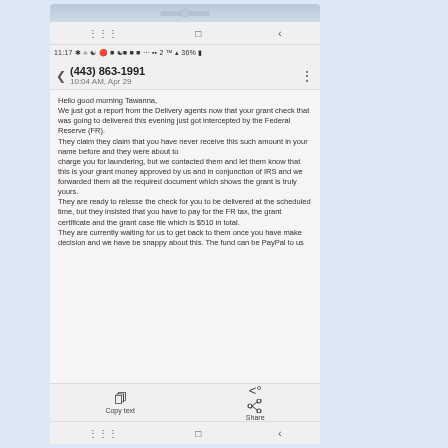[Figure (screenshot): Screenshot of a mobile phone text message conversation showing a scam message from (443) 863-1991 at 10:04 AM, Apr 29, containing a fake grant delivery interception story asking for $510 payment.]
(443) 863-1991
10:04 AM, Apr 29
Hello good morning Tawanna,
We just got a report from the Delivery agents now that your grant check that was going to delivered this evening just got intercepted by the Federal Reserve (FR).
They claim they claim that you have never receive this such amount in your name before and they were about to
charge you for laundering, but we contacted them and let them know that this is your grant money approved by us and in conjunction of IRS and we forwarded them all the required document which shows the grant is truly yours.
They are ready to relesse the check for you to be delivered at the scheduled time, but they insisted that you have to pay for the FR tax, the grant certificate and the grant case file which is $510 in total.
They are currently waiting for us to get back to them once you have make decision and we have be snappy about this. The fund can be PayPal to us
Copy text
Share